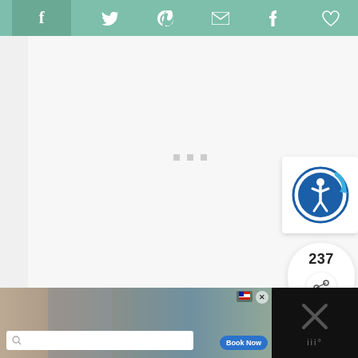[Figure (screenshot): Social share bar with Facebook, Twitter, Pinterest, Email, Tumblr, and heart/like icons on a teal/sage green background]
[Figure (screenshot): Main content area showing a loading state with three small grey dots in the center on a light grey background]
[Figure (screenshot): Accessibility widget icon - circular blue icon with person figure and circular arrow]
237
[Figure (screenshot): Share count widget showing 237 with a share icon button below]
[Figure (screenshot): What's Next widget showing 'WHAT'S NEXT →' header and 'Bodyweight Tabata...' title with thumbnail]
[Figure (screenshot): Bottom advertisement bar showing a kitchen/interior image with a search bar and Book Now button on dark background]